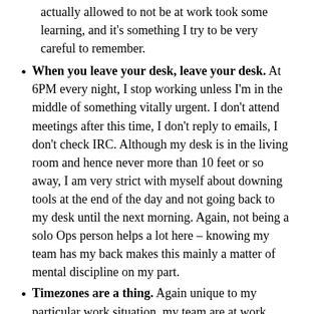actually allowed to not be at work took some learning, and it's something I try to be very careful to remember.
When you leave your desk, leave your desk. At 6PM every night, I stop working unless I'm in the middle of something vitally urgent. I don't attend meetings after this time, I don't reply to emails, I don't check IRC. Although my desk is in the living room and hence never more than 10 feet or so away, I am very strict with myself about downing tools at the end of the day and not going back to my desk until the next morning. Again, not being a solo Ops person helps a lot here – knowing my team has my back makes this mainly a matter of mental discipline on my part.
Timezones are a thing. Again unique to my particular work situation, my team are at work roughly between 2PM and 11PM UK time. They don't turn up for work at 9AM my time (4AM in